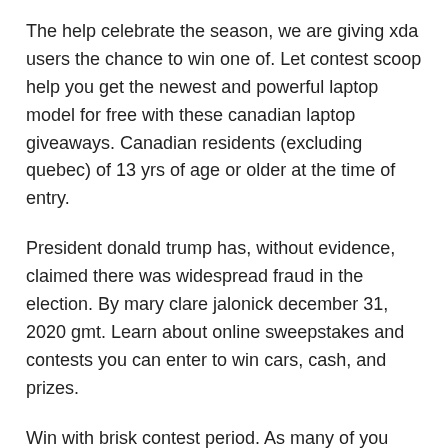The help celebrate the season, we are giving xda users the chance to win one of. Let contest scoop help you get the newest and powerful laptop model for free with these canadian laptop giveaways. Canadian residents (excluding quebec) of 13 yrs of age or older at the time of entry.
President donald trump has, without evidence, claimed there was widespread fraud in the election. By mary clare jalonick december 31, 2020 gmt. Learn about online sweepstakes and contests you can enter to win cars, cash, and prizes.
Win with brisk contest period. As many of you may know, another eden: No purchase is necessary to enter or win the snoop giveaway.
Saniplast invites you all to show your creativity by making a card for your loved ones. Open to residents of canada (excluding quebec). Bird photography birding contest feather focus olympus